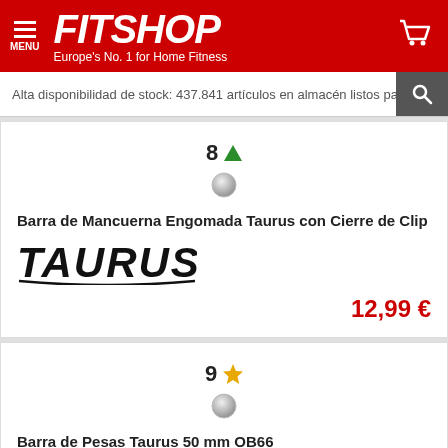FITSHOP — Europe's No. 1 for Home Fitness
Alta disponibilidad de stock: 437.841 artículos en almacén listos par
8 ▲
Barra de Mancuerna Engomada Taurus con Cierre de Clip
[Figure (logo): TAURUS brand logo in bold italic black text]
12,99 €
9 ★
Barra de Pesas Taurus 50 mm OB66
[Figure (logo): TAURUS brand logo in bold italic black text (partial, bottom cut off)]